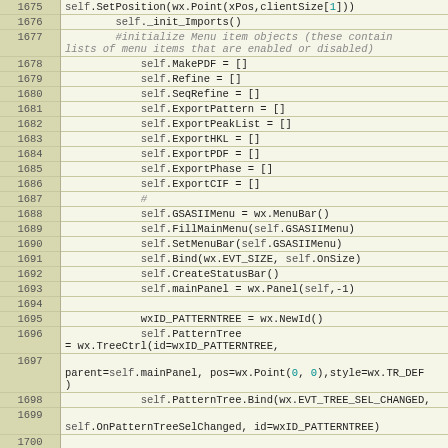[Figure (screenshot): Source code listing showing Python code lines 1675-1701 with line numbers on left and code on right, monospace font on light yellow background]